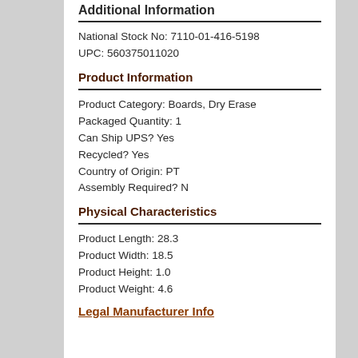Additional Information
National Stock No: 7110-01-416-5198
UPC: 560375011020
Product Information
Product Category: Boards, Dry Erase
Packaged Quantity: 1
Can Ship UPS? Yes
Recycled? Yes
Country of Origin: PT
Assembly Required? N
Physical Characteristics
Product Length: 28.3
Product Width: 18.5
Product Height: 1.0
Product Weight: 4.6
Legal Manufacturer Info